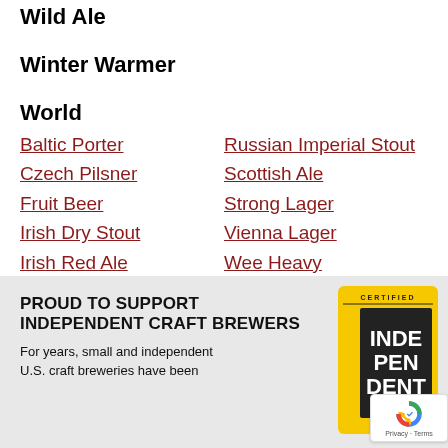Wild Ale
Winter Warmer
World
Baltic Porter
Russian Imperial Stout
Czech Pilsner
Scottish Ale
Fruit Beer
Strong Lager
Irish Dry Stout
Vienna Lager
Irish Red Ale
Wee Heavy
Pale Lager
PROUD TO SUPPORT INDEPENDENT CRAFT BREWERS
For years, small and independent U.S. craft breweries have been
[Figure (logo): Certified Independent Craft Association badge — yellow card with dark center reading INDEPENDENT in large white letters and CRAFT at the bottom, with CERTIFIED at top and ASSOCIATION on the side.]